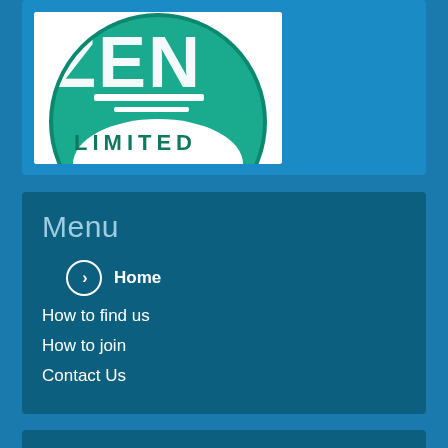[Figure (logo): Partial circular logo showing 'ZEN LIMITED' text in teal/green color on white background, partially cropped]
Menu
Home
How to find us
How to join
Contact Us